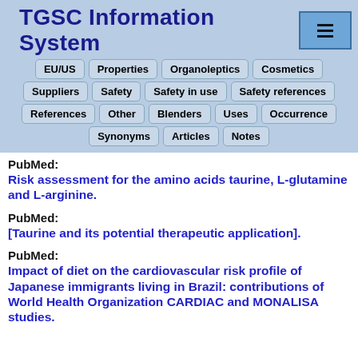TGSC Information System
EU/US  Properties  Organoleptics  Cosmetics  Suppliers  Safety  Safety in use  Safety references  References  Other  Blenders  Uses  Occurrence  Synonyms  Articles  Notes
PubMed:
Risk assessment for the amino acids taurine, L-glutamine and L-arginine.
PubMed:
[Taurine and its potential therapeutic application].
PubMed:
Impact of diet on the cardiovascular risk profile of Japanese immigrants living in Brazil: contributions of World Health Organization CARDIAC and MONALISA studies.